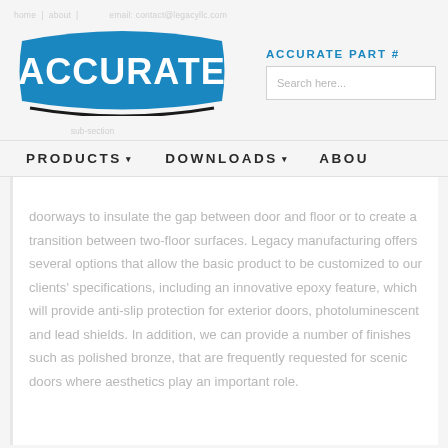[Figure (logo): Accurate company logo — blue ribbon-shaped banner with white text 'ACCURATE' and a curved black line beneath]
ACCURATE PART #
Search here...
PRODUCTS  DOWNLOADS  ABOU
doorways to insulate the gap between door and floor or to create a transition between two-floor surfaces. Legacy manufacturing offers several options that allow the basic product to be customized to our clients' specifications, including an innovative epoxy feature, which will provide anti-slip protection for exterior doors, photoluminescent and lead shields. In addition, we can provide a number of finishes such as polished bronze, that are frequently requested for scenic doors where aesthetics play an important role.